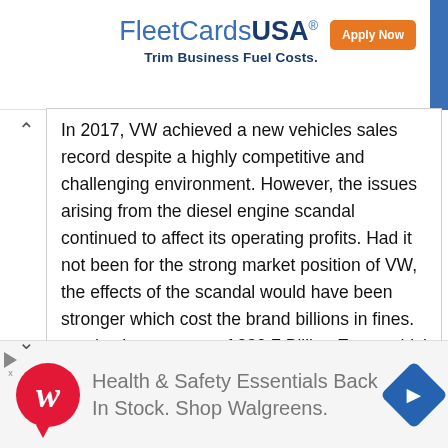[Figure (screenshot): FleetCardsUSA advertisement banner with logo and 'Apply Now' button and tagline 'Trim Business Fuel Costs.']
In 2017, VW achieved a new vehicles sales record despite a highly competitive and challenging environment. However, the issues arising from the diesel engine scandal continued to affect its operating profits. Had it not been for the strong market position of VW, the effects of the scandal would have been stronger which cost the brand billions in fines. The brand set a new sales record of 10.8 Million vehicles in 2017 and achieved sales revenue of 230.7 Billion Euros which was
[Figure (screenshot): Walgreens advertisement banner: 'Health & Safety Essentials Back In Stock. Shop Walgreens.' with Walgreens logo and navigation arrow icon.]